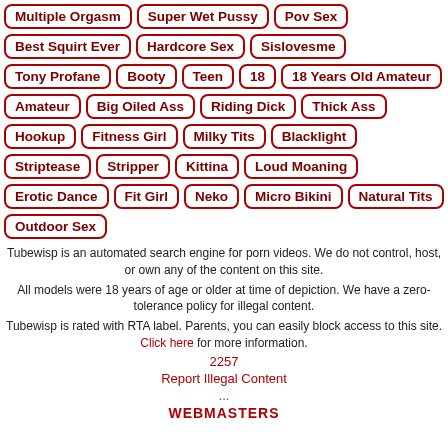Multiple Orgasm | Super Wet Pussy | Pov Sex | Best Squirt Ever | Hardcore Sex | Sislovesme | Tony Profane | Booty | Teen | 18 | 18 Years Old Amateur | Amateur | Big Oiled Ass | Riding Dick | Thick Ass | Hookup | Fitness Girl | Milky Tits | Blacklight | Striptease | Stripper | Kittina | Loud Moaning | Erotic Dance | Fit Girl | Neko | Micro Bikini | Natural Tits | Outdoor Sex
Tubewisp is an automated search engine for porn videos. We do not control, host, or own any of the content on this site.
All models were 18 years of age or older at time of depiction. We have a zero-tolerance policy for illegal content.
Tubewisp is rated with RTA label. Parents, you can easily block access to this site. Click here for more information.
2257
Report Illegal Content
...
WEBMASTERS